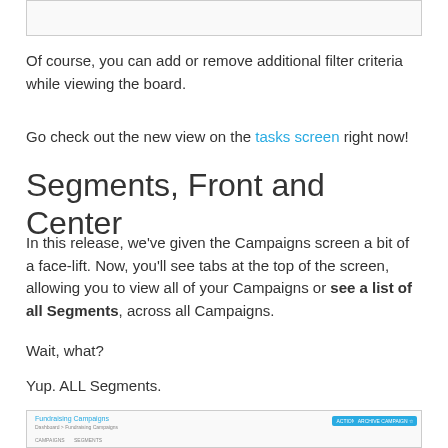[Figure (screenshot): Screenshot placeholder box at top of page]
Of course, you can add or remove additional filter criteria while viewing the board.
Go check out the new view on the tasks screen right now!
Segments, Front and Center
In this release, we've given the Campaigns screen a bit of a face-lift. Now, you'll see tabs at the top of the screen, allowing you to view all of your Campaigns or see a list of all Segments, across all Campaigns.
Wait, what?
Yup. ALL Segments.
[Figure (screenshot): Screenshot of Fundraising Campaigns screen showing tabs for Campaigns and Segments, with Actions and Archive Campaign buttons]